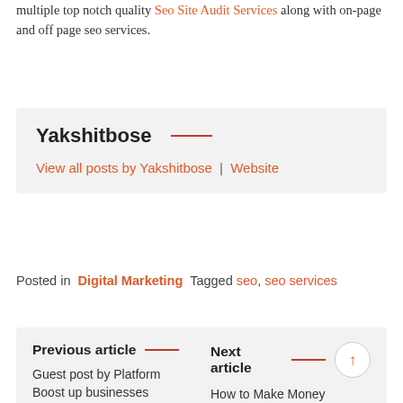multiple top notch quality Seo Site Audit Services along with on-page and off page seo services.
Yakshitbose
View all posts by Yakshitbose | Website
Posted in  Digital Marketing  Tagged seo, seo services
Previous article
Guest post by Platform Boost up businesses
Next article
How to Make Money Without Investment?